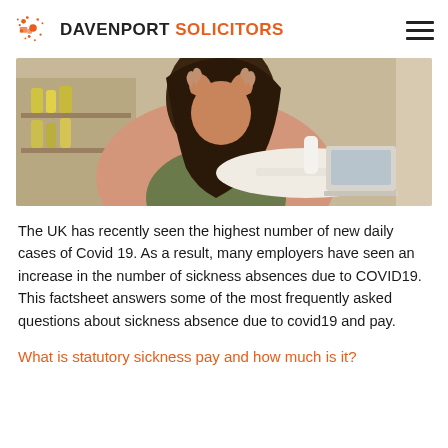DAVENPORT SOLICITORS
[Figure (photo): Person with hands on head, stressed, sitting at a desk with a laptop, shelves with bottles in background]
The UK has recently seen the highest number of new daily cases of Covid 19. As a result, many employers have seen an increase in the number of sickness absences due to COVID19. This factsheet answers some of the most frequently asked questions about sickness absence due to covid19 and pay.
What is statutory sickness pay and how much is it?